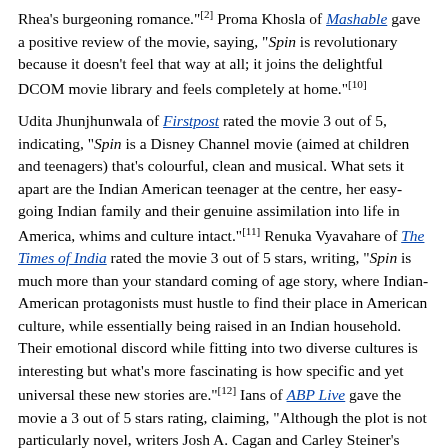Rhea's burgeoning romance."[2] Proma Khosla of Mashable gave a positive review of the movie, saying, "Spin is revolutionary because it doesn't feel that way at all; it joins the delightful DCOM movie library and feels completely at home."[10]
Udita Jhunjhunwala of Firstpost rated the movie 3 out of 5, indicating, "Spin is a Disney Channel movie (aimed at children and teenagers) that's colourful, clean and musical. What sets it apart are the Indian American teenager at the centre, her easy-going Indian family and their genuine assimilation into life in America, whims and culture intact."[11] Renuka Vyavahare of The Times of India rated the movie 3 out of 5 stars, writing, "Spin is much more than your standard coming of age story, where Indian-American protagonists must hustle to find their place in American culture, while essentially being raised in an Indian household. Their emotional discord while fitting into two diverse cultures is interesting but what's more fascinating is how specific and yet universal these new stories are."[12] Ians of ABP Live gave the movie a 3 out of 5 stars rating, claiming, "Although the plot is not particularly novel, writers Josh A. Cagan and Carley Steiner's script, sans any fantasy elements, maintain the typical Disney tropes. Read on. [...] Overall, the film boasts of a decent production quality and appears to be Disney's first attempt at a crossover film."[13]